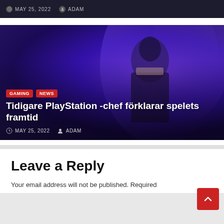MAY 25, 2022  ADAM
[Figure (photo): Man in dark suit speaking on stage with purple/violet lit background. Red category tags 'GAMING' and 'NEWS' overlaid. Article title 'Tidigare PlayStation -chef förklarar spelets framtid' and metadata 'MAY 25, 2022' and 'ADAM' shown at bottom.]
Tidigare PlayStation -chef förklarar spelets framtid
MAY 25, 2022  ADAM
Leave a Reply
Your email address will not be published. Required